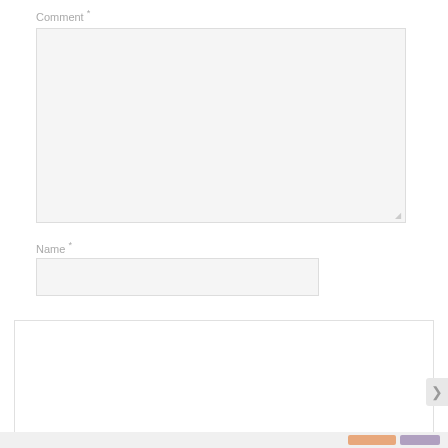Comment *
[Figure (screenshot): Comment textarea input box, empty, light gray background]
Name *
[Figure (screenshot): Name text input box, empty, light gray background]
Privacy & Cookies: This site uses cookies. By continuing to use this website, you agree to their use.
To find out more, including how to control cookies, see here: Cookie Policy
Close and accept